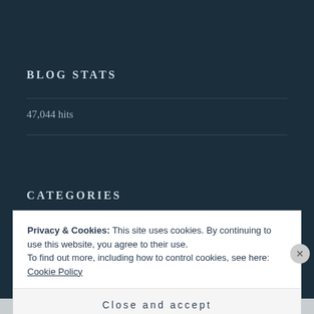BLOG STATS
47,044 hits
CATEGORIES
Privacy & Cookies: This site uses cookies. By continuing to use this website, you agree to their use.
To find out more, including how to control cookies, see here: Cookie Policy
Close and accept